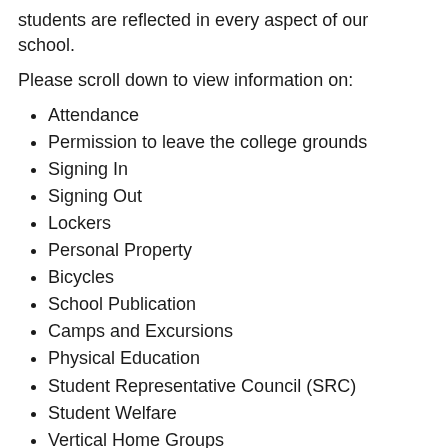students are reflected in every aspect of our school.
Please scroll down to view information on:
Attendance
Permission to leave the college grounds
Signing In
Signing Out
Lockers
Personal Property
Bicycles
School Publication
Camps and Excursions
Physical Education
Student Representative Council (SRC)
Student Welfare
Vertical Home Groups
School Leader
Student Policies
Uniform
Emergency/School Contacts